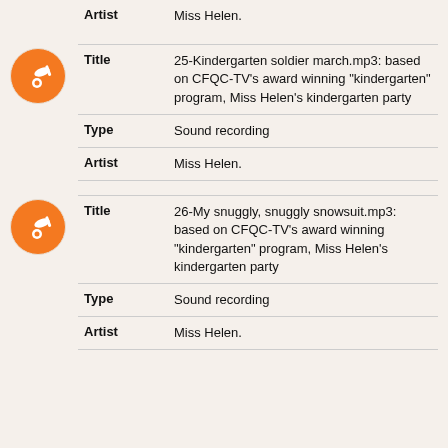Artist: Miss Helen.
Title: 25-Kindergarten soldier march.mp3: based on CFQC-TV's award winning "kindergarten" program, Miss Helen's kindergarten party
Type: Sound recording
Artist: Miss Helen.
Title: 26-My snuggly, snuggly snowsuit.mp3: based on CFQC-TV's award winning "kindergarten" program, Miss Helen's kindergarten party
Type: Sound recording
Artist: Miss Helen.